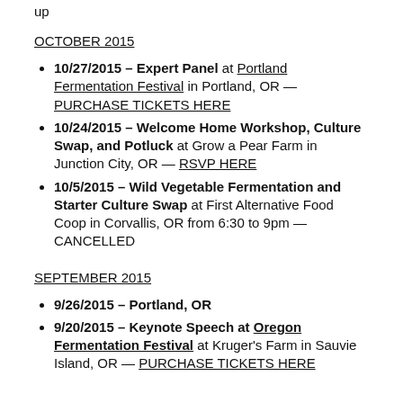up
OCTOBER 2015
10/27/2015 – Expert Panel at Portland Fermentation Festival in Portland, OR — PURCHASE TICKETS HERE
10/24/2015 – Welcome Home Workshop, Culture Swap, and Potluck at Grow a Pear Farm in Junction City, OR — RSVP HERE
10/5/2015 – Wild Vegetable Fermentation and Starter Culture Swap at First Alternative Food Coop in Corvallis, OR from 6:30 to 9pm — CANCELLED
SEPTEMBER 2015
9/26/2015 – Portland, OR
9/20/2015 – Keynote Speech at Oregon Fermentation Festival at Kruger's Farm in Sauvie Island, OR — PURCHASE TICKETS HERE